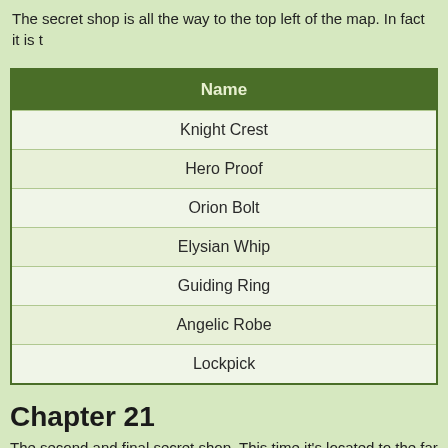The secret shop is all the way to the top left of the map. In fact it is t
| Name |
| --- |
| Knight Crest |
| Hero Proof |
| Orion Bolt |
| Elysian Whip |
| Guiding Ring |
| Angelic Robe |
| Lockpick |
Chapter 21
The second and final secret shop. This time it's located to the far rig the mountain range.